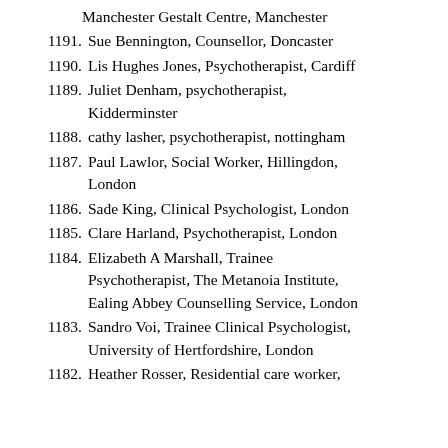Manchester Gestalt Centre, Manchester
1191. Sue Bennington, Counsellor, Doncaster
1190. Lis Hughes Jones, Psychotherapist, Cardiff
1189. Juliet Denham, psychotherapist, Kidderminster
1188. cathy lasher, psychotherapist, nottingham
1187. Paul Lawlor, Social Worker, Hillingdon, London
1186. Sade King, Clinical Psychologist, London
1185. Clare Harland, Psychotherapist, London
1184. Elizabeth A Marshall, Trainee Psychotherapist, The Metanoia Institute, Ealing Abbey Counselling Service, London
1183. Sandro Voi, Trainee Clinical Psychologist, University of Hertfordshire, London
1182. Heather Rosser, Residential care worker,